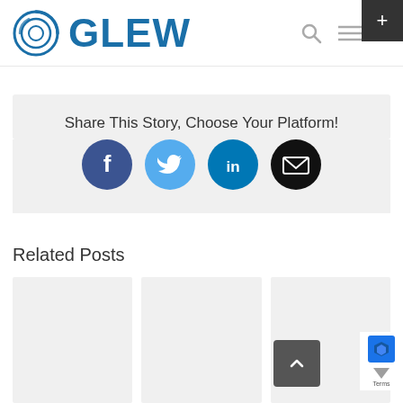[Figure (logo): Glew logo with circular swirl icon and bold blue GLEW text, plus search and hamburger menu icons in top nav bar]
Share This Story, Choose Your Platform!
[Figure (infographic): Social sharing buttons: Facebook (dark blue circle with f), Twitter (light blue circle with bird), LinkedIn (teal circle with in), Email (black circle with envelope)]
Related Posts
[Figure (photo): Three related post card thumbnails in a row, shown as light gray placeholder boxes]
[Figure (other): Dark gray back-to-top button with upward chevron arrow]
[Figure (other): reCAPTCHA badge partial, showing blue logo and Terms text, in bottom right corner]